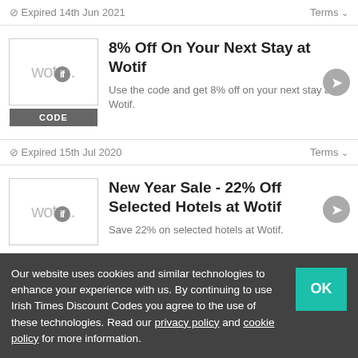⊘ Expired 14th Jun 2021    Terms ∨
8% Off On Your Next Stay at Wotif
Use the code and get 8% off on your next stay at Wotif.
⊘ Expired 15th Jul 2020    Terms ∨
New Year Sale - 22% Off Selected Hotels at Wotif
Save 22% on selected hotels at Wotif.
Our website uses cookies and similar technologies to enhance your experience with us. By continuing to use Irish Times Discount Codes you agree to the use of these technologies. Read our privacy policy and cookie policy for more information.